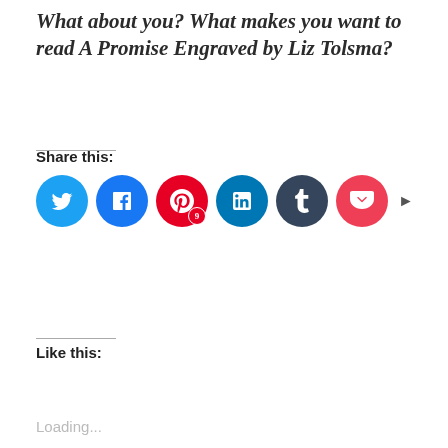What about you? What makes you want to read A Promise Engraved by Liz Tolsma?
Share this:
[Figure (infographic): Social sharing icons: Twitter (blue), Facebook (blue), Pinterest (red, badge 9), LinkedIn (teal), Tumblr (dark navy), Pocket (red), and a right arrow for more options]
Like this:
Loading...
Related
[Figure (photo): Book cover for 'When the Heart Sings' by Liz Tolsma next to a decorative pillow reading 'just one more chap-ter...']
Book Spotlight (and
[Figure (photo): Colorful graphic with summer items (hats, sunglasses, starfish) and text 'CAN'T WAIT FOR Historical Mid 2022']
New Releases I'm